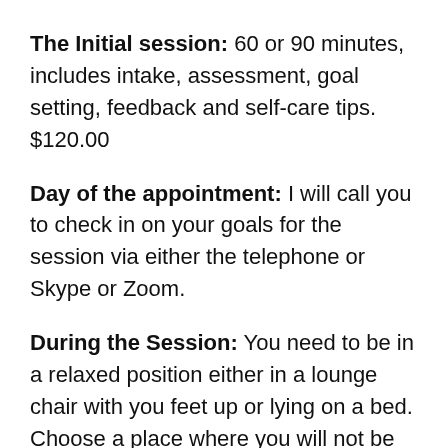The Initial session: 60 or 90 minutes, includes intake, assessment, goal setting, feedback and self-care tips. $120.00
Day of the appointment: I will call you to check in on your goals for the session via either the telephone or Skype or Zoom.
During the Session: You need to be in a relaxed position either in a lounge chair with you feet up or lying on a bed. Choose a place where you will not be disturbed by people, pets, phone or the need to go to the bathroom.
This is a special time for you. It is all about you